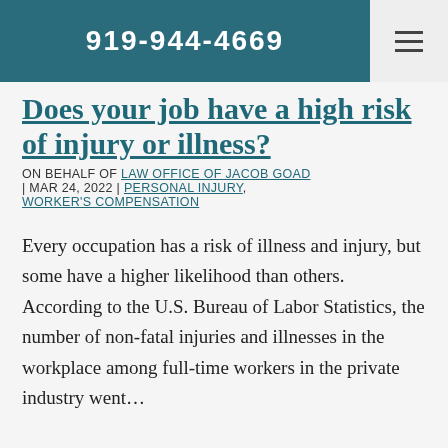919-944-4669
Does your job have a high risk of injury or illness?
ON BEHALF OF LAW OFFICE OF JACOB GOAD | MAR 24, 2022 | PERSONAL INJURY, WORKER'S COMPENSATION
Every occupation has a risk of illness and injury, but some have a higher likelihood than others. According to the U.S. Bureau of Labor Statistics, the number of non-fatal injuries and illnesses in the workplace among full-time workers in the private industry went…